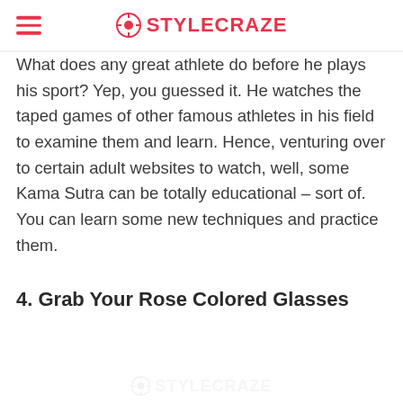STYLECRAZE
What does any great athlete do before he plays his sport? Yep, you guessed it. He watches the taped games of other famous athletes in his field to examine them and learn. Hence, venturing over to certain adult websites to watch, well, some Kama Sutra can be totally educational – sort of. You can learn some new techniques and practice them.
4. Grab Your Rose Colored Glasses